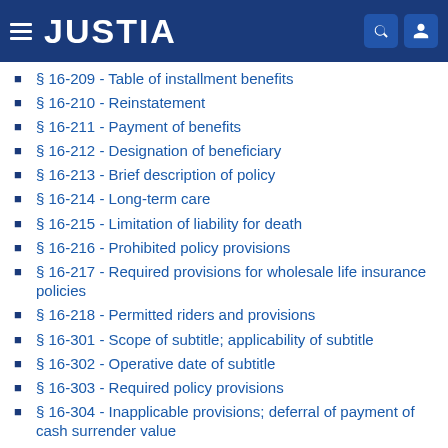JUSTIA
§ 16-209 - Table of installment benefits
§ 16-210 - Reinstatement
§ 16-211 - Payment of benefits
§ 16-212 - Designation of beneficiary
§ 16-213 - Brief description of policy
§ 16-214 - Long-term care
§ 16-215 - Limitation of liability for death
§ 16-216 - Prohibited policy provisions
§ 16-217 - Required provisions for wholesale life insurance policies
§ 16-218 - Permitted riders and provisions
§ 16-301 - Scope of subtitle; applicability of subtitle
§ 16-302 - Operative date of subtitle
§ 16-303 - Required policy provisions
§ 16-304 - Inapplicable provisions; deferral of payment of cash surrender value
§ 16-305 - Cash surrender value